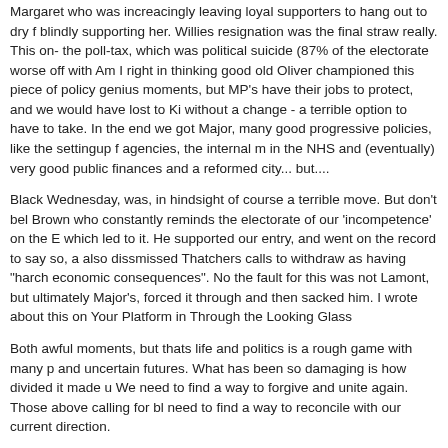Margaret who was increacingly leaving loyal supporters to hang out to dry for blindly supporting her. Willies resignation was the final straw really. This on- the poll-tax, which was political suicide (87% of the electorate worse off with Am I right in thinking good old Oliver championed this piece of policy genius moments, but MP's have their jobs to protect, and we would have lost to Kin without a change - a terrible option to have to take. In the end we got Major, many good progressive policies, like the settingup f agencies, the internal m in the NHS and (eventually) very good public finances and a reformed city... but....
Black Wednesday, was, in hindsight of course a terrible move. But don't bel Brown who constantly reminds the electorate of our 'incompetence' on the E which led to it. He supported our entry, and went on the record to say so, an also dissmissed Thatchers calls to withdraw as having "harch economic consequences". No the fault for this was not Lamont, but ultimately Major's, forced it through and then sacked him. I wrote about this on Your Platform in Through the Looking Glass
Both awful moments, but thats life and politics is a rough game with many p and uncertain futures. What has been so damaging is how divided it made u We need to find a way to forgive and unite again. Those above calling for bl need to find a way to reconcile with our current direction.
Posted by: Oberon Houston | September 10, 2007 at 21:42